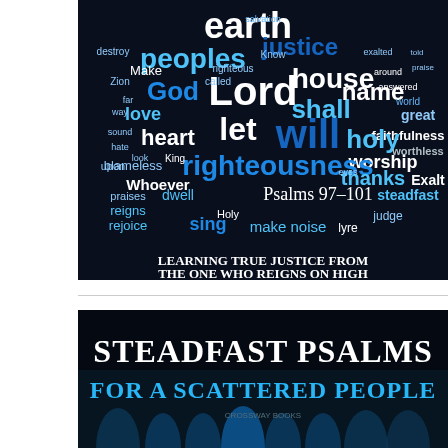[Figure (illustration): Word cloud on dark blue/black background with religious words from Psalms 97-101 in various sizes and shades of blue and white, featuring words like 'Lord', 'God', 'earth', 'righteousness', 'will', 'holy', 'justice', 'praise', 'worship', etc. Center text reads 'Psalms 97-101'. Bottom banner reads 'LEARNING TRUE JUSTICE FROM THE ONE WHO REIGNS ON HIGH'.]
[Figure (illustration): Dark background image with gothic church interior featuring arched windows glowing in blue. Large white bold text reads 'STEADFAST PSALMS' and below in cyan/teal text 'FOR A SCATTERED PEOPLE'.]